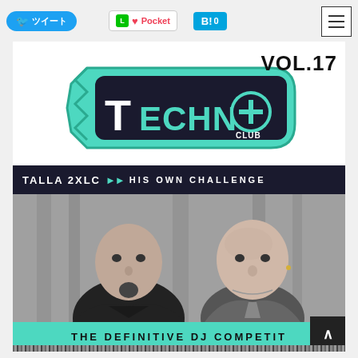[Figure (screenshot): Social media share buttons: Twitter share button (blue, rounded), LINE and Pocket buttons, Hatena Bookmark with count 0, and a hamburger menu icon in top right corner]
[Figure (photo): Album cover for Techno Club Vol.17 featuring Talla 2XLC - His Own Challenge. The cover shows the teal/mint colored Techno Club logo at top, 'VOL.17' text top right, a dark banner reading 'TALLA 2XLC >>> HIS OWN CHALLENGE', a black and white photo of two men, and a teal bottom banner reading 'THE DEFINITIVE DJ COMPETIT...']